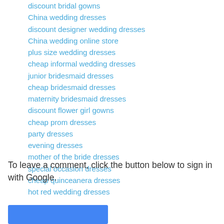discount bridal gowns
China wedding dresses
discount designer wedding dresses
China wedding online store
plus size wedding dresses
cheap informal wedding dresses
junior bridesmaid dresses
cheap bridesmaid dresses
maternity bridesmaid dresses
discount flower girl gowns
cheap prom dresses
party dresses
evening dresses
mother of the bride dresses
special occasion dresses
cheap quinceanera dresses
hot red wedding dresses
Reply
To leave a comment, click the button below to sign in with Google.